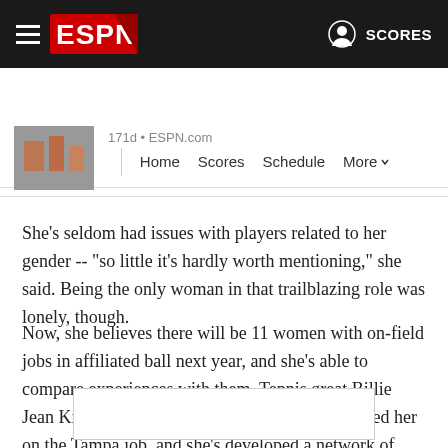ESPN - MLB - Home Scores Schedule More
171d • ESPN.com
She's seldom had issues with players related to her gender -- "so little it's hardly worth mentioning," she said. Being the only woman in that trailblazing role was lonely, though.
Now, she believes there will be 11 women with on-field jobs in affiliated ball next year, and she's able to compare experiences with them. Tennis great Billie Jean King was among the many who congratulated her on the Tampa job, and she's developed a network of support that's reinforced her confidence that she's ready for the role.
[Figure (other): Rectangular placeholder box at bottom of page]